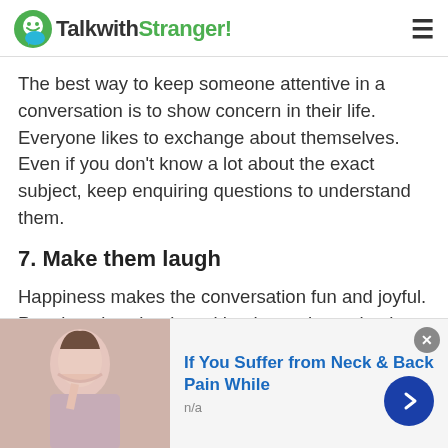TalkwithStranger!
The best way to keep someone attentive in a conversation is to show concern in their life. Everyone likes to exchange about themselves. Even if you don't know a lot about the exact subject, keep enquiring questions to understand them.
7. Make them laugh
Happiness makes the conversation fun and joyful. People enjoy chatting with others who make them laugh. So get out of your head and don't take anything too seriously—just have fun with it!
[Figure (other): Advertisement banner: woman with neck pain, text 'If You Suffer from Neck & Back Pain While', subtext 'n/a']